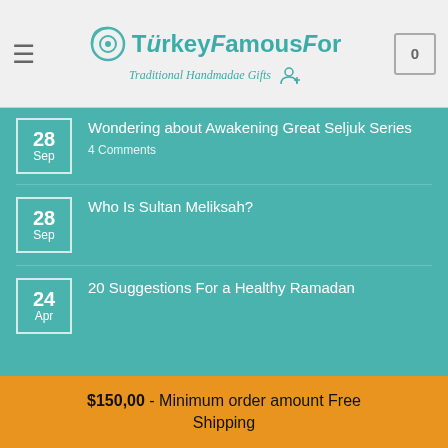TurkeyFamousFor – Traditional Handmadae Gifts
28 Sep – Wondering about Awakening Great Seljuk Series – 4 Comments
28 Sep – Who Is Sultan Meliksah?
24 Apr – 20 Suggestions For a Healthy Ramadan
OUR COMPANY
About Us
About Turkey
$150,00 - Minimum order amount Free Shipping